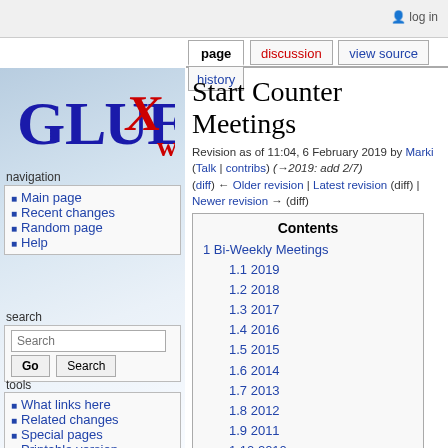log in
page | discussion | view source | history
[Figure (logo): GlueX logo with stylized X in red and blue text]
navigation
Main page
Recent changes
Random page
Help
search
tools
What links here
Related changes
Special pages
Printable version
Permanent link
Start Counter Meetings
Revision as of 11:04, 6 February 2019 by Marki (Talk | contribs) (→2019: add 2/7)
(diff) ← Older revision | Latest revision (diff) | Newer revision → (diff)
| Contents |
| --- |
| 1 Bi-Weekly Meetings |
| 1.1 2019 |
| 1.2 2018 |
| 1.3 2017 |
| 1.4 2016 |
| 1.5 2015 |
| 1.6 2014 |
| 1.7 2013 |
| 1.8 2012 |
| 1.9 2011 |
| 1.10 2010 |
| 2 Special Meetings |
Bi-Weekly Meetings